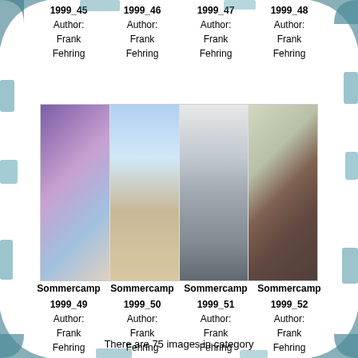1999_45
Author:
Frank
Fehring
1999_46
Author:
Frank
Fehring
1999_47
Author:
Frank
Fehring
1999_48
Author:
Frank
Fehring
[Figure (photo): Four photographs: close-up of person with purple head covering; outdoor scene with train car/caravan and sandy ground; person lying on wooden deck; person in brown top against floral wallpaper background]
Sommercamp Sommercamp Sommercamp Sommercamp
1999_49
Author:
Frank
Fehring
1999_50
Author:
Frank
Fehring
1999_51
Author:
Frank
Fehring
1999_52
Author:
Frank
Fehring
There are 75 images in category